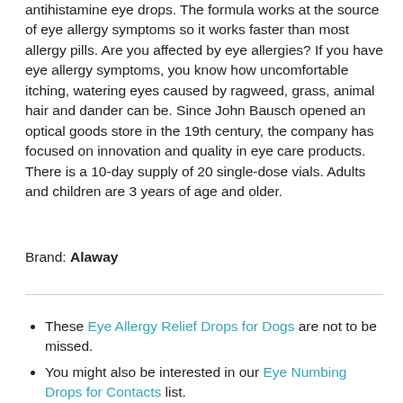antihistamine eye drops. The formula works at the source of eye allergy symptoms so it works faster than most allergy pills. Are you affected by eye allergies? If you have eye allergy symptoms, you know how uncomfortable itching, watering eyes caused by ragweed, grass, animal hair and dander can be. Since John Bausch opened an optical goods store in the 19th century, the company has focused on innovation and quality in eye care products. There is a 10-day supply of 20 single-dose vials. Adults and children are 3 years of age and older.
Brand: Alaway
These Eye Allergy Relief Drops for Dogs are not to be missed.
You might also be interested in our Eye Numbing Drops for Contacts list.
You might also be interested in our Eye Itch Relief Drops Ketotifen list.
Additionally, you may be interested in our Eye Numbing Drops for Scratched Eye list.
These Eye Drops Before...